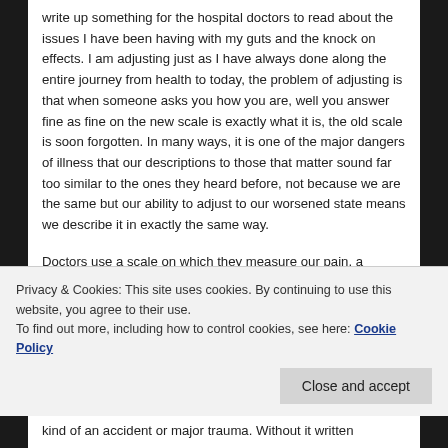write up something for the hospital doctors to read about the issues I have been having with my guts and the knock on effects. I am adjusting just as I have always done along the entire journey from health to today, the problem of adjusting is that when someone asks you how you are, well you answer fine as fine on the new scale is exactly what it is, the old scale is soon forgotten. In many ways, it is one of the major dangers of illness that our descriptions to those that matter sound far too similar to the ones they heard before, not because we are the same but our ability to adjust to our worsened state means we describe it in exactly the same way.
Doctors use a scale on which they measure our pain, a
Privacy & Cookies: This site uses cookies. By continuing to use this website, you agree to their use.
To find out more, including how to control cookies, see here: Cookie Policy
kind of an accident or major trauma. Without it written